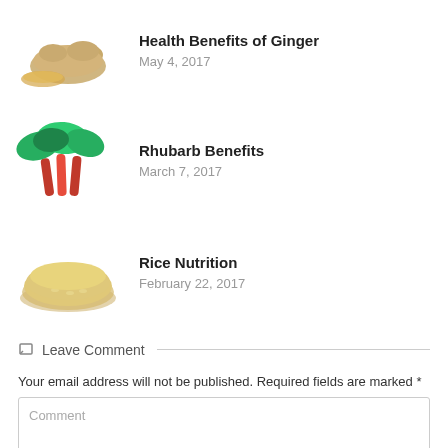Health Benefits of Ginger
May 4, 2017
Rhubarb Benefits
March 7, 2017
Rice Nutrition
February 22, 2017
Leave Comment
Your email address will not be published. Required fields are marked *
Comment